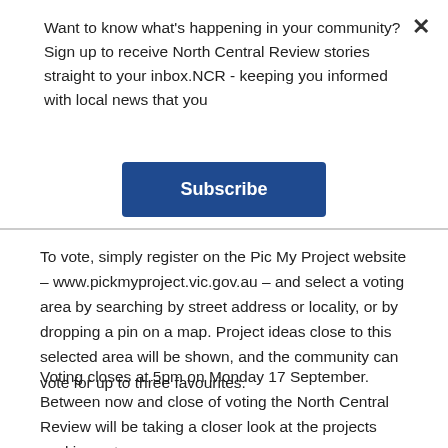Want to know what's happening in your community?Sign up to receive North Central Review stories straight to your inbox.NCR - keeping you informed with local news that you
[Figure (other): Blue Subscribe button]
To vote, simply register on the Pic My Project website – www.pickmyproject.vic.gov.au – and select a voting area by searching by street address or locality, or by dropping a pin on a map. Project ideas close to this selected area will be shown, and the community can vote for up to three favourites.
Voting closes at 5pm on Monday 17 September. Between now and close of voting the North Central Review will be taking a closer look at the projects seeking votes.